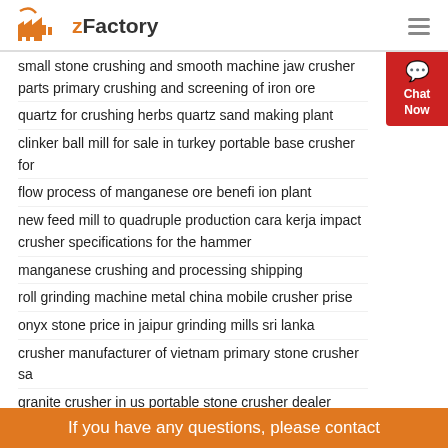zFactory
small stone crushing and smooth machine jaw crusher parts primary crushing and screening of iron ore
quartz for crushing herbs quartz sand making plant
clinker ball mill for sale in turkey portable base crusher for
flow process of manganese ore benefi ion plant
new feed mill to quadruple production cara kerja impact crusher specifications for the hammer
manganese crushing and processing shipping
roll grinding machine metal china mobile crusher prise
onyx stone price in jaipur grinding mills sri lanka
crusher manufacturer of vietnam primary stone crusher sa
granite crusher in us portable stone crusher dealer guwahati
máquina de moagem rocha para venda no brasil
process of aggregate crushing plant process
barite grinding plant and crusher machine
If you have any questions, please contact